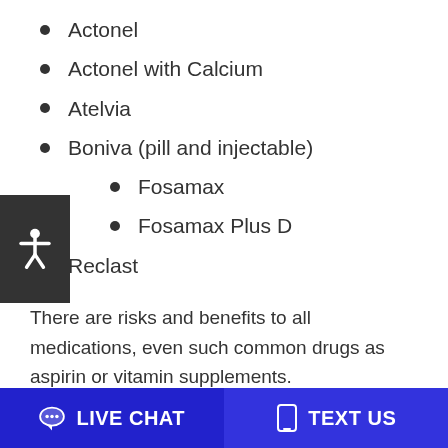Actonel
Actonel with Calcium
Atelvia
Boniva (pill and injectable)
Fosamax
Fosamax Plus D
Reclast
There are risks and benefits to all medications, even such common drugs as aspirin or vitamin supplements.
Patients should not be pressured into taking any
LIVE CHAT  TEXT US